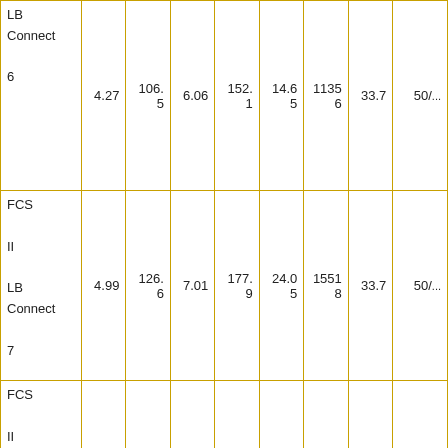| LB
Connect
6 | 4.27 | 106.5 | 6.06 | 152.1 | 14.65 | 11356 | 33.7 | 50/... |
| FCS
II
LB
Connect
7 | 4.99 | 126.6 | 7.01 | 177.9 | 24.05 | 15518 | 33.7 | 50/... |
| FCS
II
LB
Connect
8 | 5.64 | 143.1 | 7.96 | 202.0 | 30.71 | 19812 | 33.7 | 50/... |
| FCS
... |  |  |  |  |  |  |  |  |